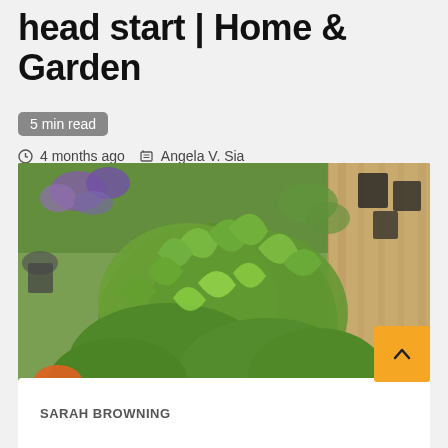head start | Home & Garden
5 min read
4 months ago   Angela V. Sia
[Figure (photo): Close-up photo of lush green leafy plants in a garden nursery setting, with purple flowers and orange flowers visible in the background, wooden decking visible on the right side.]
SARAH BROWNING